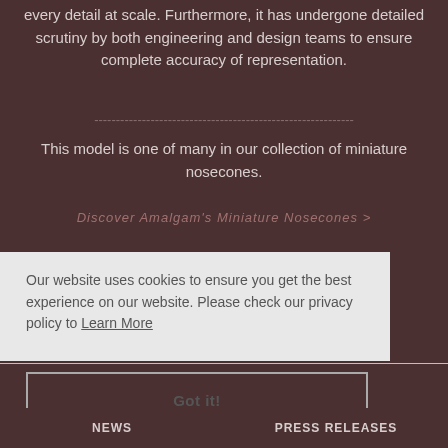every detail at scale. Furthermore, it has undergone detailed scrutiny by both engineering and design teams to ensure complete accuracy of representation.
------------------------------------------------------------
This model is one of many in our collection of miniature nosecones.
Discover Amalgam's Miniature Nosecones >
Our website uses cookies to ensure you get the best experience on our website. Please check our privacy policy to Learn More
Got it!
NEWS    PRESS RELEASES